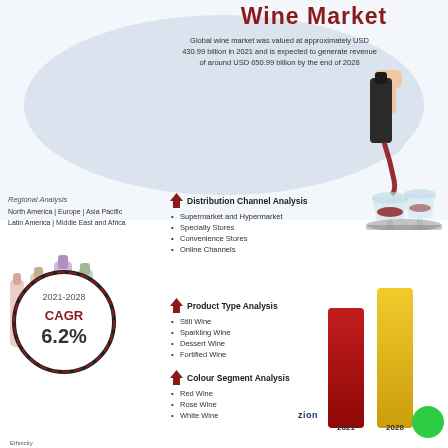Wine Market
Global wine market was valued at approximately USD 430.99 billion in 2021 and is expected to generate revenue of around USD 650.99 billion by the end of 2028
Regional Analysis
North America | Europe | Asia Pacific
Latin America | Middle East and Africa
2021-2028
CAGR
6.2%
Distribution Channel Analysis
Supermarket and Hypermarket
Specialty Stores
Convenience Stores
Online Channels
Product Type Analysis
Still Wine
Sparkling Wine
Dessert Wine
Fortified Wine
Colour Segment Analysis
Red Wine
Rose Wine
White Wine
[Figure (infographic): Wine market infographic showing wine pouring into glasses, wine bottles, bar chart comparing USD 430.99 billion (2021) and USD 650.99 billion (2028), CAGR circle 6.2%, world map background, Zion market research logo]